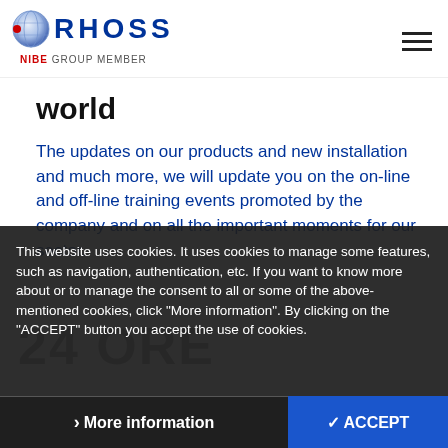[Figure (logo): Rhoss logo with globe icon and NIBE GROUP MEMBER text below]
world
The updates on our products and new installation and much more, we will update you on the on-line and off-line training events promoted by the company and on all the important moments for our sector.
This website uses cookies. It uses cookies to manage some features, such as navigation, authentication, etc. If you want to know more about or to manage the consent to all or some of the above-mentioned cookies, click "More information". By clicking on the "ACCEPT" button you accept the use of cookies.